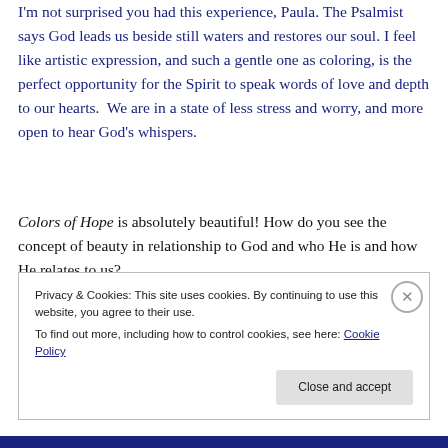I'm not surprised you had this experience, Paula. The Psalmist says God leads us beside still waters and restores our soul. I feel like artistic expression, and such a gentle one as coloring, is the perfect opportunity for the Spirit to speak words of love and depth to our hearts.  We are in a state of less stress and worry, and more open to hear God's whispers.
Colors of Hope is absolutely beautiful! How do you see the concept of beauty in relationship to God and who He is and how He relates to us?
Privacy & Cookies: This site uses cookies. By continuing to use this website, you agree to their use.
To find out more, including how to control cookies, see here: Cookie Policy